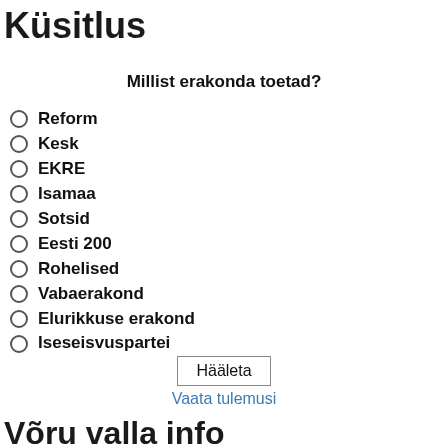Küsitlus
Millist erakonda toetad?
Reform
Kesk
EKRE
Isamaa
Sotsid
Eesti 200
Rohelised
Vabaerakond
Elurikkuse erakond
Iseseisvuspartei
Hääleta
Vaata tulemusi
Võru valla info